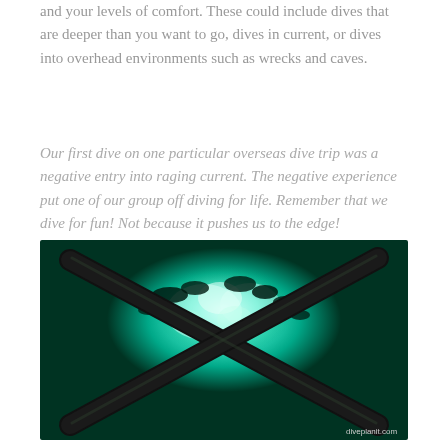and your levels of comfort. These could include dives that are deeper than you want to go, dives in current, or dives into overhead environments such as wrecks and caves.
Our first dive on one particular overseas dive trip was a negative entry into raging current. The negative experience put one of our group off diving for life. Remember that we dive for fun! Not because it pushes us to the edge!
[Figure (photo): Underwater photo taken inside a shipwreck looking upward through crossed metal beams toward the bright teal-green surface light above, with marine growth on the beams. Watermark reads diveplanit.com.]